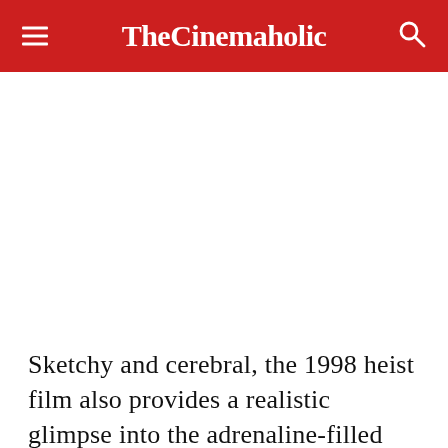TheCinemaholic
Sketchy and cerebral, the 1998 heist film also provides a realistic glimpse into the adrenaline-filled world of gambling.